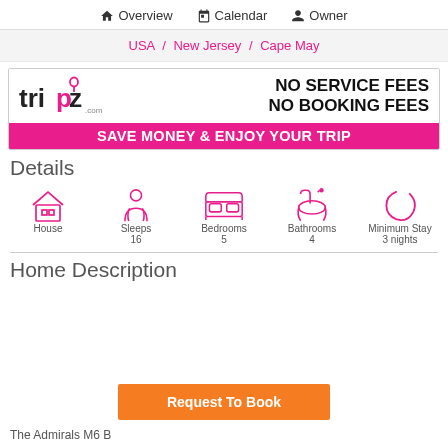Overview  Calendar  Owner
USA / New Jersey / Cape May
[Figure (infographic): Tripz.com banner ad: NO SERVICE FEES NO BOOKING FEES — SAVE MONEY & ENJOY YOUR TRIP]
Details
[Figure (infographic): Property details icons: House, Sleeps 16, Bedrooms 5, Bathrooms 4, Minimum Stay 3 nights]
Home Description
Request To Book
The Admirals M6 B...